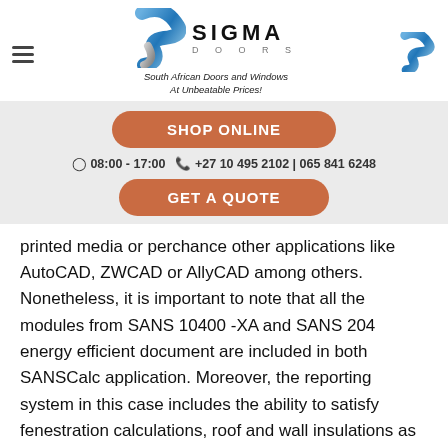[Figure (logo): Sigma Doors logo with blue stylized S shape, company name SIGMA DOORS and tagline South African Doors and Windows At Unbeatable Prices!]
[Figure (logo): Small Sigma Doors blue S logo on top right]
SHOP ONLINE
08:00 - 17:00   +27 10 495 2102 | 065 841 6248
GET A QUOTE
printed media or perchance other applications like AutoCAD, ZWCAD or AllyCAD among others. Nonetheless, it is important to note that all the modules from SANS 10400 -XA and SANS 204 energy efficient document are included in both SANSCalc application. Moreover, the reporting system in this case includes the ability to satisfy fenestration calculations, roof and wall insulations as well as peak energy demand which includes the annual energy usage such as lighting as stated in the